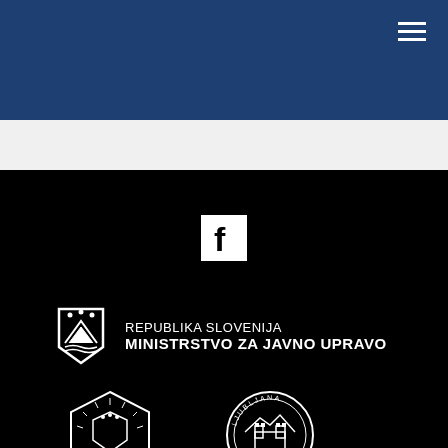[Figure (other): Dark blue header navigation bar with hamburger menu icon in top right]
[Figure (logo): Facebook icon (white F on white square background) centered on black section]
[Figure (logo): Republika Slovenija coat of arms (white shield with mountains and stars) followed by text: REPUBLIKA SLOVENIJA / MINISTRSTVO ZA JAVNO UPRAVO]
[Figure (logo): Republika Slovenija round seal/badge (black and white) - bottom left partially visible]
[Figure (logo): Ljubljana Mestna round seal/badge (black and white) - bottom right partially visible]